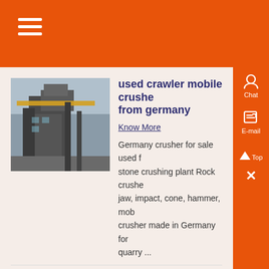used crawler mobile crusher from germany
Know More
Germany crusher for sale used for stone crushing plant Rock crusher jaw, impact, cone, hammer, mobile crusher made in Germany for quarry ...
Used crushers for sale from Germany - Mascus USA
Know More
Used crushers for sale from Germany available on Mascus